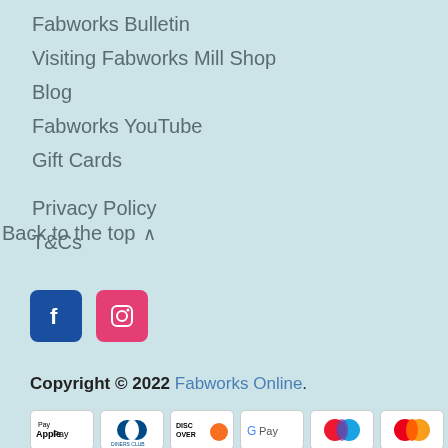Fabworks Bulletin
Visiting Fabworks Mill Shop
Blog
Fabworks YouTube
Gift Cards
Privacy Policy
T&Cs
Back to the top ∧
[Figure (logo): Facebook icon (blue square with white f) and Instagram icon (pink/red square with white camera)]
Copyright © 2022 Fabworks Online.
[Figure (other): Payment method icons: Apple Pay, Diners Club, Discover, Google Pay, Maestro, Mastercard]